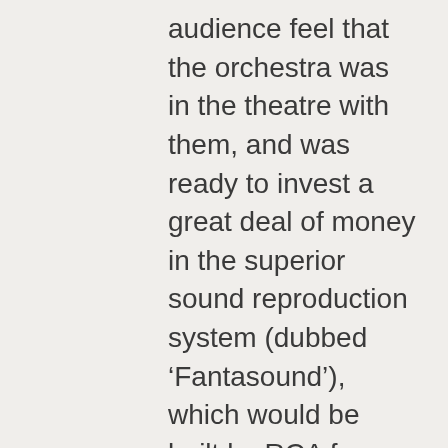audience feel that the orchestra was in the theatre with them, and was ready to invest a great deal of money in the superior sound reproduction system (dubbed ‘Fantasound’), which would be built by RCA for around $200,000. Disney and RCA poured research attention into many different areas, creating early forms of technologies we now take for granted: stereo sound, multi-track recording, noise reduction, overdubbing and many more.
Of course, even when completed, moving Fantasound around the country from venue to venue would be a nightmare: there was so much that could go wrong with the